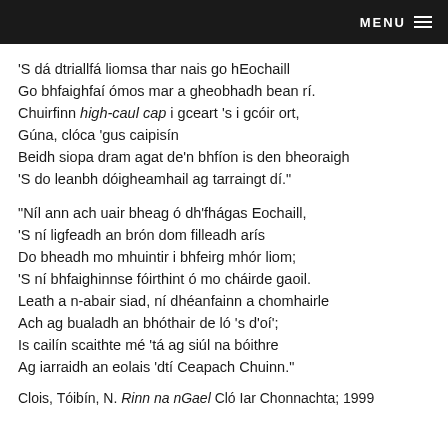MENU
'S dá dtriallfá liomsa thar nais go hEochaill
Go bhfaighfaí ómos mar a gheobhadh bean rí.
Chuirfinn high-caul cap i gceart 's i gcóir ort,
Gúna, clóca 'gus caipisín
Beidh siopa dram agat de'n bhfíon is den bheoraigh
'S do leanbh dóigheamhail ag tarraingt dí."
"Níl ann ach uair bheag ó dh'fhágas Eochaill,
'S ní ligfeadh an brón dom filleadh arís
Do bheadh mo mhuintir i bhfeirg mhór liom;
'S ní bhfaighinnse fóirthint ó mo cháirde gaoil.
Leath a n-abair siad, ní dhéanfainn a chomhairle
Ach ag bualadh an bhóthair de ló 's d'oí';
Is cailín scaithte mé 'tá ag siúl na bóithre
Ag iarraidh an eolais 'dtí Ceapach Chuinn."
Clois, Tóibín, N. Rinn na nGael Cló Iar Chonnachta; 1999